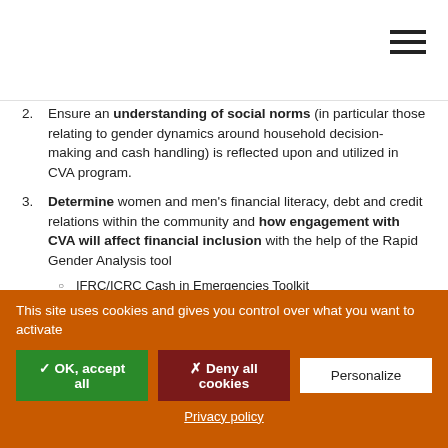2. Ensure an understanding of social norms (in particular those relating to gender dynamics around household decision-making and cash handling) is reflected upon and utilized in CVA program.
3. Determine women and men's financial literacy, debt and credit relations within the community and how engagement with CVA will affect financial inclusion with the help of the Rapid Gender Analysis tool
- IFRC/ICRC Cash in Emergencies Toolkit
  - Community access to Financial Services template
- For E-Vouchers: Mercy Corps E-Transfer Implementation Guide
  - Annex 4: User Capacity Survey (English)(French)
This site uses cookies and gives you control over what you want to activate
✓ OK, accept all | ✗ Deny all cookies | Personalize
Privacy policy